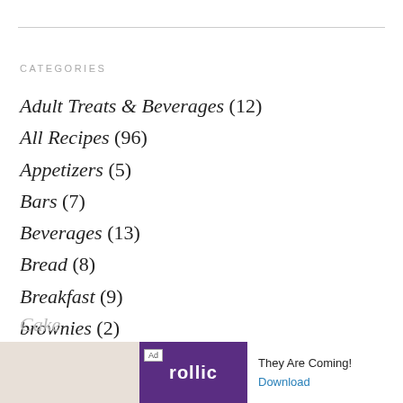CATEGORIES
Adult Treats & Beverages (12)
All Recipes (96)
Appetizers (5)
Bars (7)
Beverages (13)
Bread (8)
Breakfast (9)
brownies (2)
Brunch (5)
Cake
[Figure (screenshot): Advertisement banner for Rollic game 'They Are Coming!' with Download button]